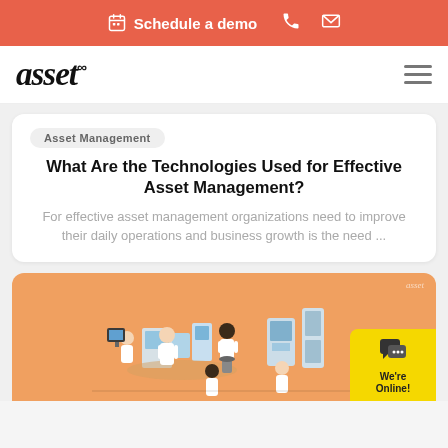Schedule a demo
[Figure (logo): asset∞ logo in bold italic serif font with infinity symbol]
Asset Management
What Are the Technologies Used for Effective Asset Management?
For effective asset management organizations need to improve their daily operations and business growth is the need ...
[Figure (illustration): Isometric illustration of laboratory scientists working at equipment on an orange background. Small 'asset' watermark in top right corner. Chat widget with 'We're Online!' in yellow in bottom right corner.]